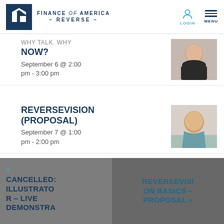Finance of America Reverse — Login | Menu
WHY TALK. WHY NOW?
September 6 @ 2:00 pm - 3:00 pm
[Figure (photo): Headshot of a woman with short gray hair wearing a black top]
REVERSEVISION (PROPOSAL)
September 7 @ 1:00 pm - 2:00 pm
[Figure (photo): Headshot of a woman with short blond hair wearing a teal top]
« CANCELLED: ILLUSTRATOR – LIVE DEMONSTRA
REVERSEVISION BASICS – PROPOSAL »